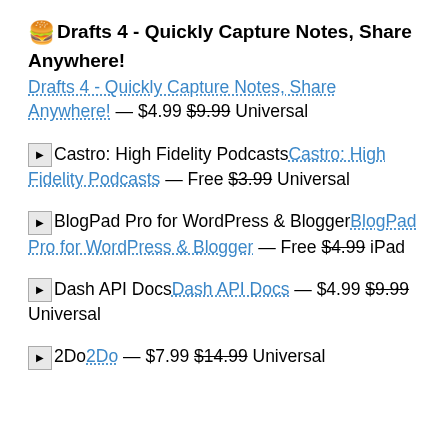🍔Drafts 4 - Quickly Capture Notes, Share Anywhere! Drafts 4 - Quickly Capture Notes, Share Anywhere! — $4.99 $9.99 Universal
[icon]Castro: High Fidelity PodcastsCastro: High Fidelity Podcasts — Free $3.99 Universal
[icon]BlogPad Pro for WordPress & BloggerBlogPad Pro for WordPress & Blogger — Free $4.99 iPad
[icon]Dash API DocsDash API Docs — $4.99 $9.99 Universal
[icon]2Do2Do — $7.99 $14.99 Universal